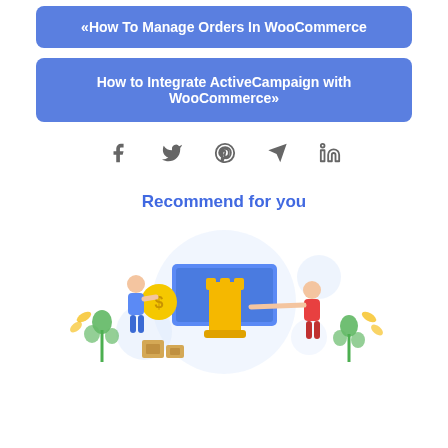«How To Manage Orders In WooCommerce
How to Integrate ActiveCampaign with WooCommerce»
[Figure (infographic): Social sharing icons row: Facebook, Twitter, Pinterest, Telegram, LinkedIn]
Recommend for you
[Figure (illustration): Illustration of two people with a chess rook, money coin, and video player screen, representing e-commerce or business strategy content]